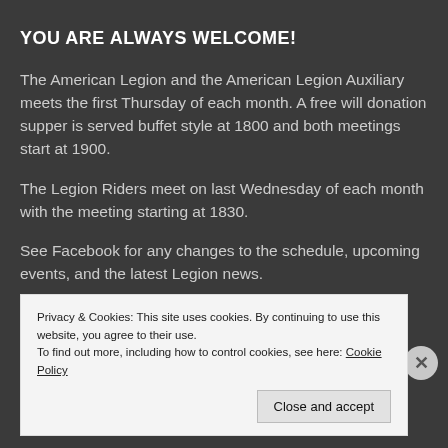YOU ARE ALWAYS WELCOME!
The American Legion and the American Legion Auxiliary meets the first Thursday of each month. A free will donation supper is served buffet style at 1800 and both meetings start at 1900.
The Legion Riders meet on last Wednesday of each month with the meeting starting at 1830.
See Facebook for any changes to the schedule, upcoming events, and the latest Legion news.
Privacy & Cookies: This site uses cookies. By continuing to use this website, you agree to their use.
To find out more, including how to control cookies, see here: Cookie Policy
Close and accept